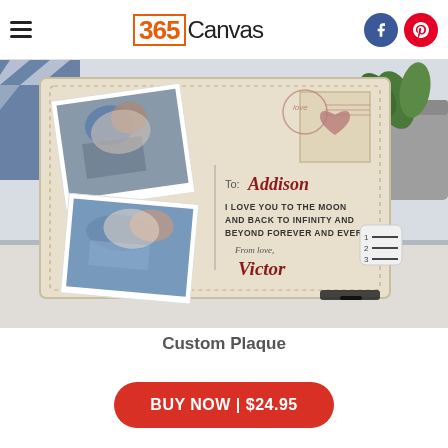365Canvas
[Figure (photo): Product photo of a custom wooden plaque designed like a postcard. The plaque has a light wood texture background with a dotted border. On the left side are two polaroid-style couple photos. On the right side is a postage stamp with a heart and 'LOVE' text. Below the stamp is handwritten-style text: 'To: Addison' followed by 'I LOVE YOU TO THE MOON AND BACK TO INFINITY AND BEYOND FOREVER AND EVER From love, Victor'. The plaque sits on a display stand on a white surface with a plant and blue geometric fabric in the background. A numbered list icon appears at the bottom right corner.]
Custom Plaque
BUY NOW | $24.95